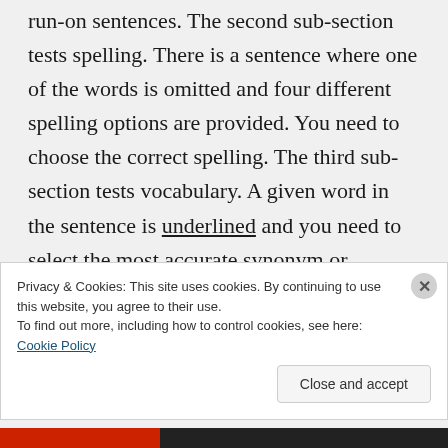run-on sentences. The second sub-section tests spelling. There is a sentence where one of the words is omitted and four different spelling options are provided. You need to choose the correct spelling. The third sub-section tests vocabulary. A given word in the sentence is underlined and you need to select the most accurate synonym or definition out of four options.
Privacy & Cookies: This site uses cookies. By continuing to use this website, you agree to their use. To find out more, including how to control cookies, see here: Cookie Policy
Close and accept